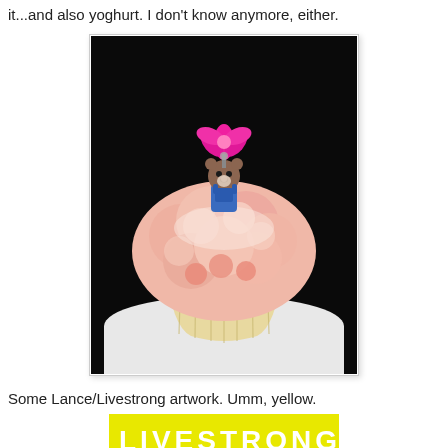it...and also yoghurt. I don't know anymore, either.
[Figure (photo): A cupcake with pink frosting topped by a small bear figurine wearing blue overalls and a pink flower crown, photographed on a white surface against a dark background.]
Some Lance/Livestrong artwork. Umm, yellow.
[Figure (photo): A yellow background with white bold text reading 'LIVESTRONG' partially visible, with a partial circular dark shape at the bottom.]